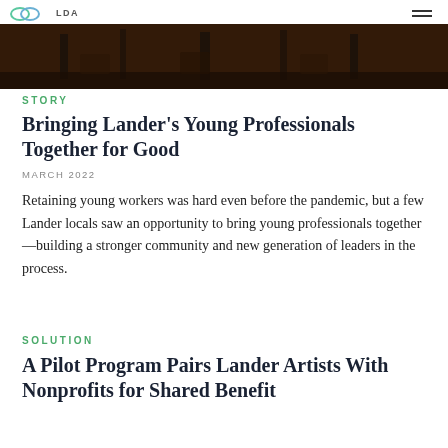LDA (logo)
[Figure (photo): Dark interior photo of a room with chairs and dim lighting, warm brown tones]
STORY
Bringing Lander’s Young Professionals Together for Good
MARCH 2022
Retaining young workers was hard even before the pandemic, but a few Lander locals saw an opportunity to bring young professionals together—building a stronger community and new generation of leaders in the process.
SOLUTION
A Pilot Program Pairs Lander Artists With Nonprofits for Shared Benefit